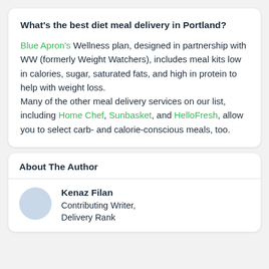What's the best diet meal delivery in Portland?
Blue Apron's Wellness plan, designed in partnership with WW (formerly Weight Watchers), includes meal kits low in calories, sugar, saturated fats, and high in protein to help with weight loss.
Many of the other meal delivery services on our list, including Home Chef, Sunbasket, and HelloFresh, allow you to select carb- and calorie-conscious meals, too.
About The Author
Kenaz Filan
Contributing Writer,
Delivery Rank